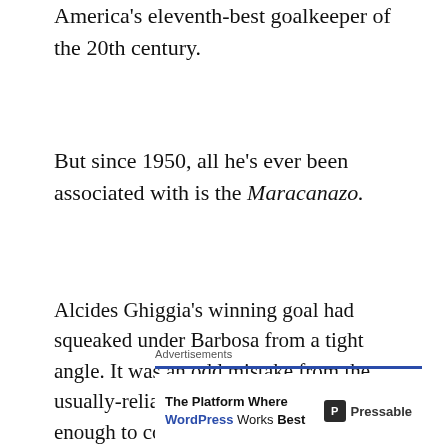America’s eleventh-best goalkeeper of the 20th century.
But since 1950, all he’s ever been associated with is the Maracanazo.
Alcides Ghiggia’s winning goal had squeaked under Barbosa from a tight angle. It was an odd mistake from the usually-reliable goalkeeper, but it was enough to cost Brazil the trophy and Barbosa his reputation.
Advertisements
The Platform Where WordPress Works Best  Pressable